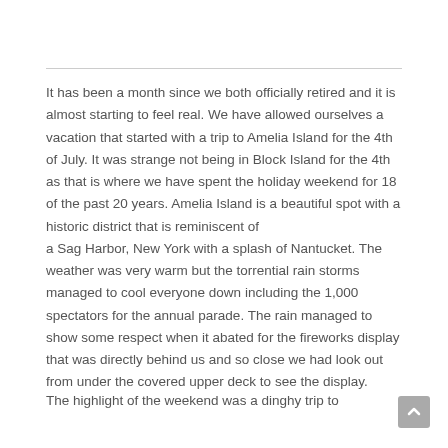It has been a month since we both officially retired and it is almost starting to feel real. We have allowed ourselves a vacation that started with a trip to Amelia Island for the 4th of July. It was strange not being in Block Island for the 4th as that is where we have spent the holiday weekend for 18 of the past 20 years. Amelia Island is a beautiful spot with a historic district that is reminiscent of a Sag Harbor, New York with a splash of Nantucket. The weather was very warm but the torrential rain storms managed to cool everyone down including the 1,000 spectators for the annual parade. The rain managed to show some respect when it abated for the fireworks display that was directly behind us and so close we had look out from under the covered upper deck to see the display.
The highlight of the weekend was a dinghy trip to